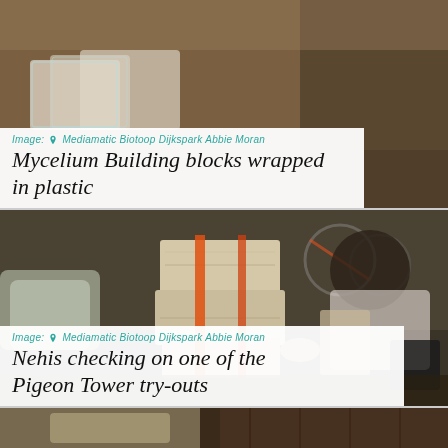[Figure (photo): Mycelium building blocks wrapped in plastic, outdoor setting]
Image: Mediamatic Biotoop Dijkspark Abbie Moran
Mycelium Building blocks wrapped in plastic
[Figure (photo): Person (Nehis) leaning over and checking mycelium blocks stacked with orange straps, outdoors with bicycles in background]
Image: Mediamatic Biotoop Dijkspark Abbie Moran
Nehis checking on one of the Pigeon Tower try-outs
[Figure (photo): Close-up of mycelium material on wooden surface, partial view]